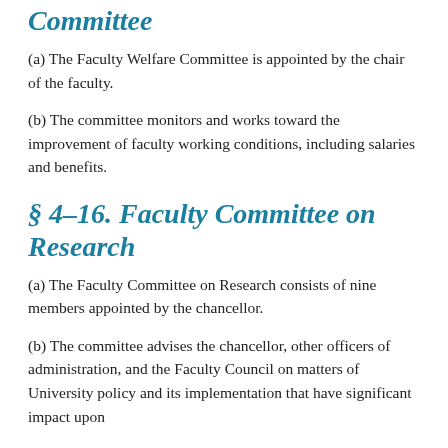Committee
(a) The Faculty Welfare Committee is appointed by the chair of the faculty.
(b) The committee monitors and works toward the improvement of faculty working conditions, including salaries and benefits.
§ 4-16. Faculty Committee on Research
(a) The Faculty Committee on Research consists of nine members appointed by the chancellor.
(b) The committee advises the chancellor, other officers of administration, and the Faculty Council on matters of University policy and its implementation that have significant impact upon